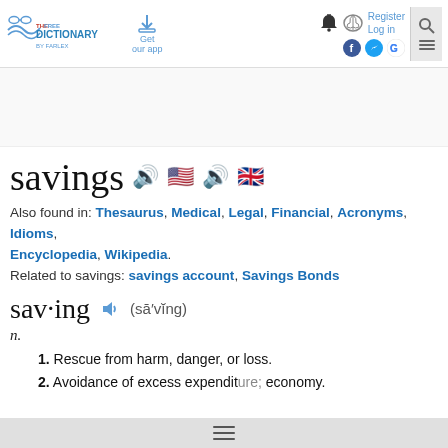TheFreeDictionary by Farlex — Get our app — Register Log in
savings
Also found in: Thesaurus, Medical, Legal, Financial, Acronyms, Idioms, Encyclopedia, Wikipedia.
Related to savings: savings account, Savings Bonds
sav·ing (sā′vĭng)
n.
1. Rescue from harm, danger, or loss.
2. Avoidance of excess expenditure; economy.